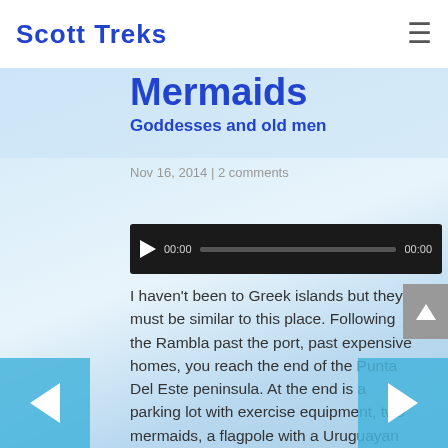Scott Treks
Mermaids
Goddesses and old men
Nov 16, 2014 | 2 comments
[Figure (other): Audio player widget showing 00:00 / 00:00 with play button and progress bar]
I haven't been to Greek islands but they must be similar to this place. Following the Rambla past the port, past expensive homes, you reach the end of the Punta Del Este peninsula. At the end is a parking lot with exercise equipment, two mermaids, a flagpole with a Uruguayan flag flying, and an old man standing perilously close to incoming waves as he tries to fish rough